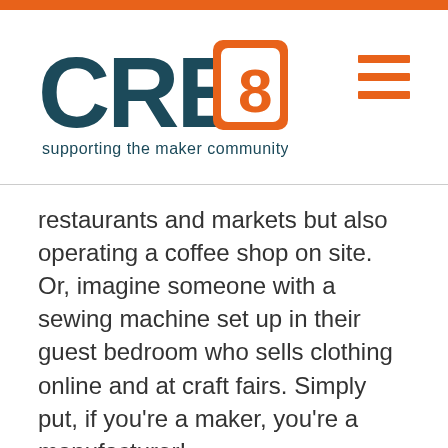[Figure (logo): CRE8 logo with orange bracket design and tagline 'supporting the maker community']
restaurants and markets but also operating a coffee shop on site. Or, imagine someone with a sewing machine set up in their guest bedroom who sells clothing online and at craft fairs. Simply put, if you're a maker, you're a manufacturer!
These creative industries are typically low-impact so they can be located near neighborhoods rather than on the outskirts of town. This means that for